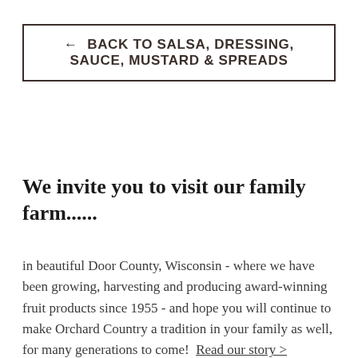← BACK TO SALSA, DRESSING, SAUCE, MUSTARD & SPREADS
We invite you to visit our family farm......
in beautiful Door County, Wisconsin - where we have been growing, harvesting and producing award-winning fruit products since 1955 - and hope you will continue to make Orchard Country a tradition in your family as well, for many generations to come!  Read our story > The Lautenbach Family and The LOC Team